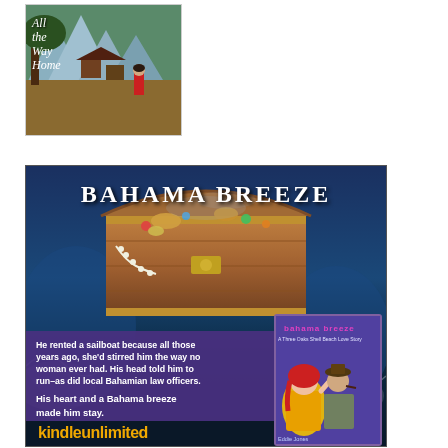[Figure (illustration): Book cover for 'All the Way Home' showing a woman in a red dress sitting under a tree with mountains and huts in background. Text in white italic serif font reads 'All the Way Home'.]
[Figure (illustration): Promotional banner for 'Bahama Breeze' book. Blue ocean/storm background with treasure chest overflowing with jewels at top. Title 'BAHAMA BREEZE' in white bold letters at top. Left side has white bold text: 'He rented a sailboat because all those years ago, she'd stirred him the way no woman ever had. His head told him to run–as did local Bahamian law officers.' and 'His heart and a Bahama breeze made him stay.' Right side shows book cover with retro comic-style art of man and woman. Bottom shows 'kindleunlimited' in orange text on dark background.]